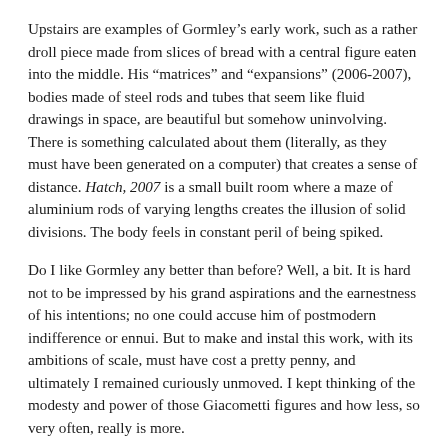Upstairs are examples of Gormley's early work, such as a rather droll piece made from slices of bread with a central figure eaten into the middle. His “matrices” and “expansions” (2006-2007), bodies made of steel rods and tubes that seem like fluid drawings in space, are beautiful but somehow uninvolving. There is something calculated about them (literally, as they must have been generated on a computer) that creates a sense of distance. Hatch, 2007 is a small built room where a maze of aluminium rods of varying lengths creates the illusion of solid divisions. The body feels in constant peril of being spiked.
Do I like Gormley any better than before? Well, a bit. It is hard not to be impressed by his grand aspirations and the earnestness of his intentions; no one could accuse him of postmodern indifference or ennui. But to make and instal this work, with its ambitions of scale, must have cost a pretty penny, and ultimately I remained curiously unmoved. I kept thinking of the modesty and power of those Giacometti figures and how less, so very often, really is more.
Antony Gormley Blind Light at the Hayward Gallery, London until 19 August 2007